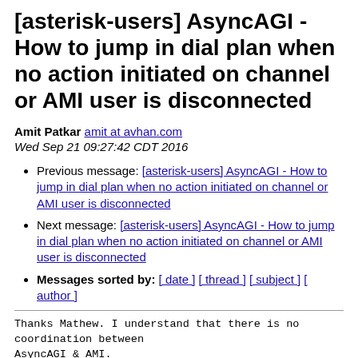[asterisk-users] AsyncAGI - How to jump in dial plan when no action initiated on channel or AMI user is disconnected
Amit Patkar amit at avhan.com
Wed Sep 21 09:27:42 CDT 2016
Previous message: [asterisk-users] AsyncAGI - How to jump in dial plan when no action initiated on channel or AMI user is disconnected
Next message: [asterisk-users] AsyncAGI - How to jump in dial plan when no action initiated on channel or AMI user is disconnected
Messages sorted by: [ date ] [ thread ] [ subject ] [ author ]
Thanks Mathew. I understand that there is no coordination between
AsyncAGI & AMI.
Is there any dial plan function which can tell us if